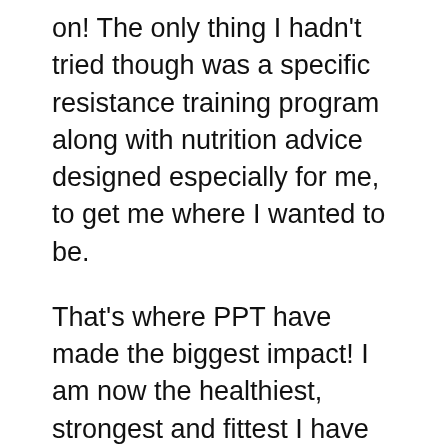on! The only thing I hadn't tried though was a specific resistance training program along with nutrition advice designed especially for me, to get me where I wanted to be.
That's where PPT have made the biggest impact! I am now the healthiest, strongest and fittest I have ever been. I was previously on tablets for high blood pressure I don't need them anymore. I previously thought if I did weight training I would bulk up and my problem area (butt and thighs) would get bigger instead I can deadlift 115kg and back squat 80kg, and I have lost the most inches on my butt , thighs and legs.